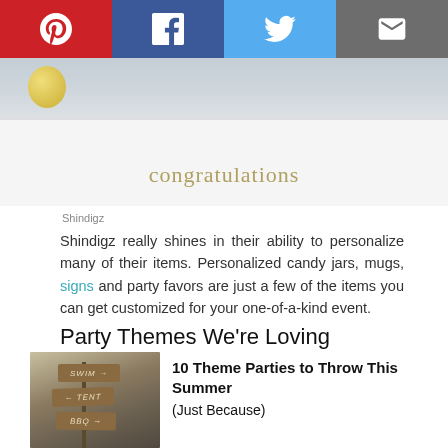[Figure (infographic): Social sharing bar with Pinterest (red), Facebook (blue), Twitter (light blue), and Email (grey) icons]
[Figure (photo): Party table with white tablecloth and 'congratulations' banner, decorated with gold balloons and desserts]
Shindigz
Shindigz really shines in their ability to personalize many of their items. Personalized candy jars, mugs, signs and party favors are just a few of the items you can get customized for your one-of-a-kind event.
Party Themes We're Loving
[Figure (photo): Rustic wooden directional signs pointing to SWIM, TENT, and BBQ]
10 Theme Parties to Throw This Summer (Just Because)